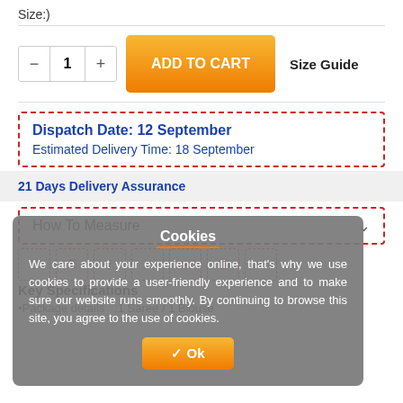Size:)
[Figure (screenshot): Add to cart row with quantity selector showing 1, orange ADD TO CART button, and Size Guide link]
Dispatch Date: 12 September
Estimated Delivery Time: 18 September
21 Days Delivery Assurance
How To Measure
Cookies
We care about your experience online, that's why we use cookies to provide a user-friendly experience and to make sure our website runs smoothly. By continuing to browse this site, you agree to the use of cookies.
Key Specifications
•Package details  :1 Saree / 1 Blouse